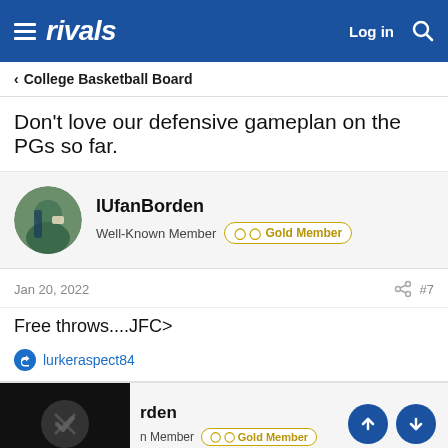rivals — Log in
< College Basketball Board
Don't love our defensive gameplan on the PGs so far.
IUfanBorden — Well-Known Member — Gold Member
Jan 20, 2022  #7
Free throws....JFC>
lurkeraspect84
rden — n Member — Gold Member